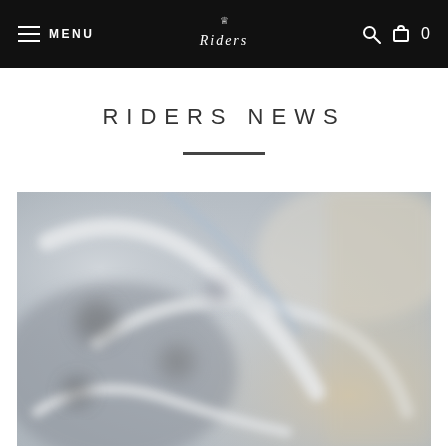MENU | RIDERS | 0
RIDERS NEWS
[Figure (photo): Blurred close-up photograph of equestrian riding equipment, showing curved metallic elements such as stirrups or bridle hardware against a muted grey and beige background.]